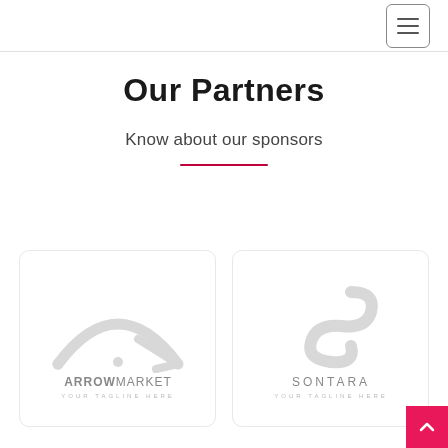Our Partners
Know about our sponsors
[Figure (logo): ARROWMARKET logo with arc and arrow house icon, YOUR TAGLINE HERE subtext, light gray]
[Figure (logo): SONTARA logo with S swirl icon, YOUR TAGLINE HERE subtext, light gray]